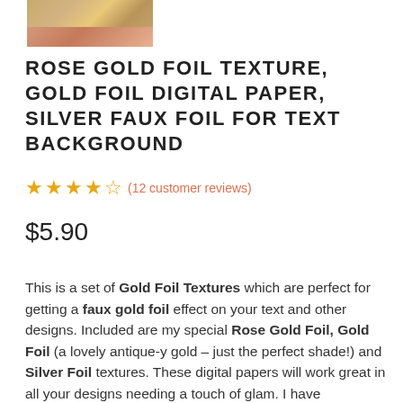[Figure (photo): Thumbnail image of rose gold and gold foil texture digital paper product]
ROSE GOLD FOIL TEXTURE, GOLD FOIL DIGITAL PAPER, SILVER FAUX FOIL FOR TEXT BACKGROUND
★★★★☆ (12 customer reviews)
$5.90
This is a set of Gold Foil Textures which are perfect for getting a faux gold foil effect on your text and other designs. Included are my special Rose Gold Foil, Gold Foil (a lovely antique-y gold – just the perfect shade!) and Silver Foil textures. These digital papers will work great in all your designs needing a touch of glam. I have personally created these metallic textures myself and use them in my design projects. There is perfect amount of contrast which